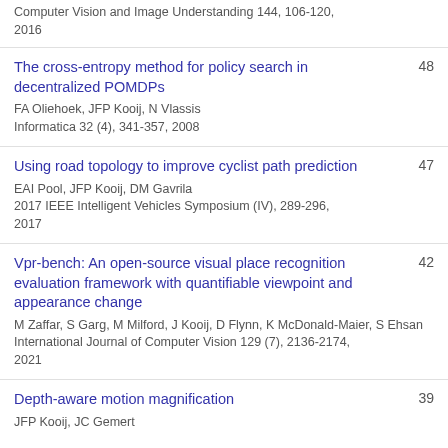Computer Vision and Image Understanding 144, 106-120, 2016
The cross-entropy method for policy search in decentralized POMDPs | FA Oliehoek, JFP Kooij, N Vlassis | Informatica 32 (4), 341-357, 2008 | 48
Using road topology to improve cyclist path prediction | EAI Pool, JFP Kooij, DM Gavrila | 2017 IEEE Intelligent Vehicles Symposium (IV), 289-296, 2017 | 47
Vpr-bench: An open-source visual place recognition evaluation framework with quantifiable viewpoint and appearance change | M Zaffar, S Garg, M Milford, J Kooij, D Flynn, K McDonald-Maier, S Ehsan | International Journal of Computer Vision 129 (7), 2136-2174, 2021 | 42
Depth-aware motion magnification | JFP Kooij, JC Gemert | 39